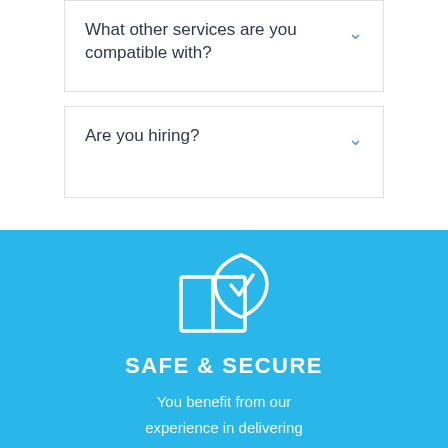What other services are you compatible with?
Are you hiring?
[Figure (illustration): White outline icon of a package/box with a shield and checkmark, on a sky blue background]
SAFE & SECURE
You benefit from our experience in delivering